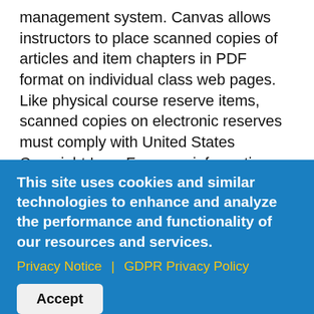electronic reserves using the Canvas course management system. Canvas allows instructors to place scanned copies of articles and item chapters in PDF format on individual class web pages. Like physical course reserve items, scanned copies on electronic reserves must comply with United States Copyright Law. For more information about Canvas, contact the Innovative Learning Center at (504) 862-8594 or ilc@tulane.edu.
Alternatives to Reserves: As an alternative to physical course reserves, instructors are
This site uses cookies and similar technologies to enhance and analyze the performance and functionality of our resources and services.
Privacy Notice | GDPR Privacy Policy
Accept